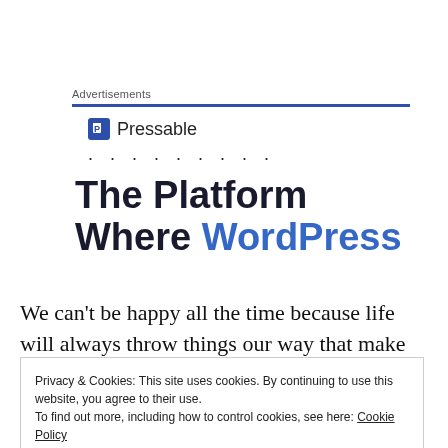Advertisements
[Figure (logo): Pressable logo with blue square P icon and text Pressable, followed by a row of dots]
The Platform Where WordPress
We can't be happy all the time because life will always throw things our way that make us feel sad, hurt, angry,
Privacy & Cookies: This site uses cookies. By continuing to use this website, you agree to their use. To find out more, including how to control cookies, see here: Cookie Policy. Close and accept